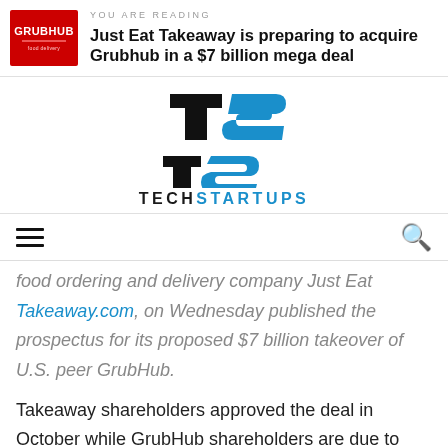YOU ARE READING
Just Eat Takeaway is preparing to acquire Grubhub in a $7 billion mega deal
[Figure (logo): Tech Startups logo with TS monogram in black and blue]
food ordering and delivery company Just Eat Takeaway.com, on Wednesday published the prospectus for its proposed $7 billion takeover of U.S. peer GrubHub.
Takeaway shareholders approved the deal in October while GrubHub shareholders are due to meet to vote on the offer on June 10, According to Reuters, citing a statement from Takeaway.